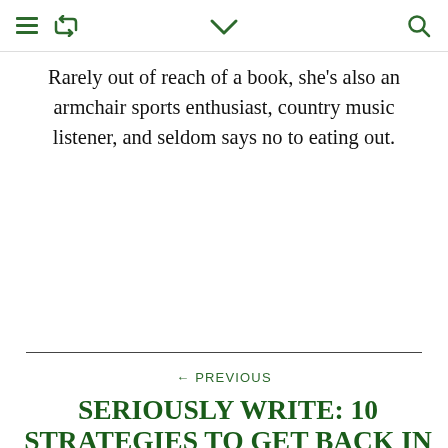≡ ↺ ∨ 🔍
Rarely out of reach of a book, she's also an armchair sports enthusiast, country music listener, and seldom says no to eating out.
← PREVIOUS
SERIOUSLY WRITE: 10 STRATEGIES TO GET BACK IN THE WRITING GAME BY
Privacy & Cookies: This site uses cookies. By continuing to use this website, you agree to their use.
To find out more, including how to control cookies, see here: Cookie Policy
Close and accept
INNER EDITOR TO THE CURB BY ERIN